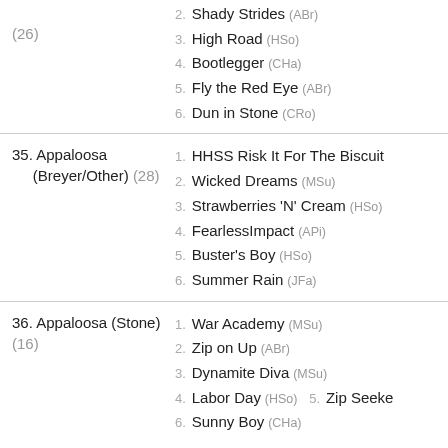(26) | 2. Shady Strides (ABr) | 3. High Road (HSo) | 4. Bootlegger (CHa) | 5. Fly the Red Eye (ABr) | 6. Dun in Stone (CRo)
35. Appaloosa (Breyer/Other) (28) | 1. HHSS Risk It For The Biscuit | 2. Wicked Dreams (MSu) | 3. Strawberries 'N' Cream (HSo) | 4. FearlessImpact (APi) | 5. Buster's Boy (HSo) | 6. Summer Rain (JFa)
36. Appaloosa (Stone) (16) | 1. War Academy (MSu) | 2. Zip on Up (ABr) | 3. Dynamite Diva (MSu) | 4. Labor Day (HSo)  5. Zip Seeke | 6. Sunny Boy (CHa)